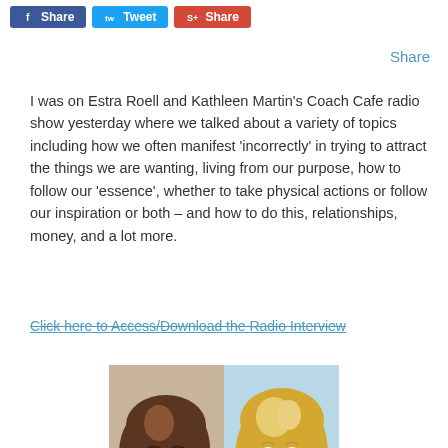Share  Tweet  Share
Share
I was on Estra Roell and Kathleen Martin's Coach Cafe radio show yesterday where we talked about a variety of topics including how we often manifest 'incorrectly' in trying to attract the things we are wanting, living from our purpose, how to follow our 'essence', whether to take physical actions or follow our inspiration or both – and how to do this, relationships, money, and a lot more.
Click here to Access/Download the Radio Interview
[Figure (photo): Two women side by side: left woman has dark brown hair and a green top, right woman has blonde hair and is smiling]